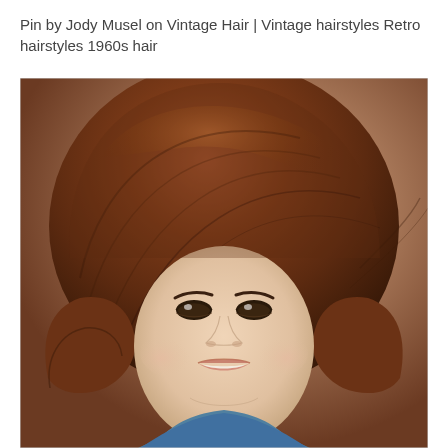Pin by Jody Musel on Vintage Hair | Vintage hairstyles Retro hairstyles 1960s hair
[Figure (photo): Portrait photo of a woman with a large, voluminous 1960s-style bouffant hairstyle, dark auburn/brown hair, smiling, wearing a blue top. The background is a warm tan/brown gradient studio backdrop.]